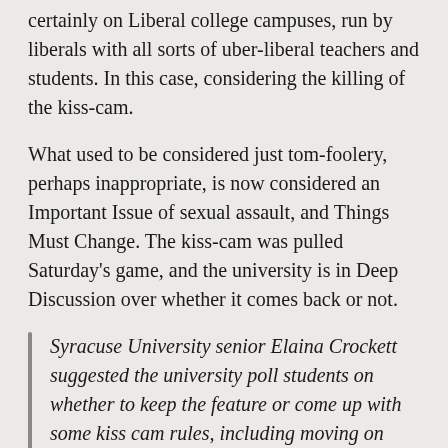certainly on Liberal college campuses, run by liberals with all sorts of uber-liberal teachers and students. In this case, considering the killing of the kiss-cam.
What used to be considered just tom-foolery, perhaps inappropriate, is now considered an Important Issue of sexual assault, and Things Must Change. The kiss-cam was pulled Saturday's game, and the university is in Deep Discussion over whether it comes back or not.
Syracuse University senior Elaina Crockett suggested the university poll students on whether to keep the feature or come up with some kiss cam rules, including moving on quickly if someone obviously doesn't want to play along.
That actually makes some sense. Move on quickly.